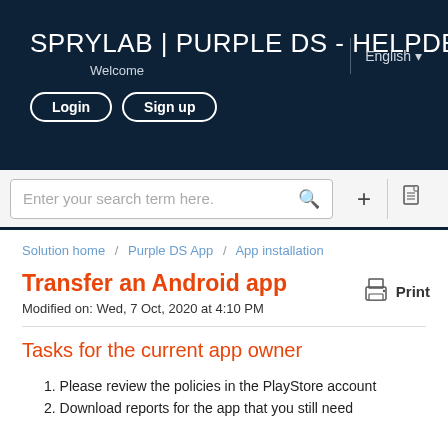SPRYLAB | PURPLE DS - HELPDESK Welcome  English  Login  Sign up
[Figure (screenshot): Search bar with placeholder text 'Enter your search term here.' and icons for plus and document]
Solution home / Purple DS App / App installation
Transfer an Android app
Modified on: Wed, 7 Oct, 2020 at 4:10 PM
Tasks for the current app owner
1. Please review the policies in the PlayStore account
2. Download reports for the app that you still need